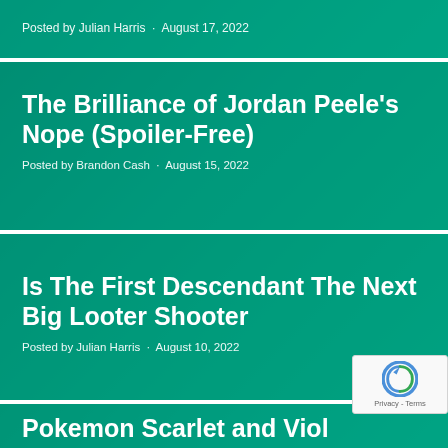Posted by Julian Harris · August 17, 2022
The Brilliance of Jordan Peele's Nope (Spoiler-Free)
Posted by Brandon Cash · August 15, 2022
Is The First Descendant The Next Big Looter Shooter
Posted by Julian Harris · August 10, 2022
Pokemon Scarlet and Violet go to the Paldea Region
[Figure (other): reCAPTCHA privacy badge in bottom right corner]